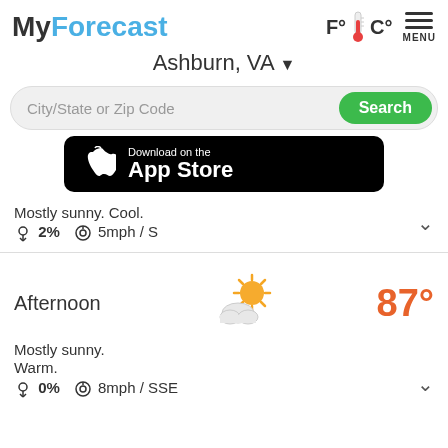[Figure (logo): MyForecast app logo with thermometer F°C° and MENU icon]
Ashburn, VA
[Figure (screenshot): Search bar with City/State or Zip Code input and green Search button]
[Figure (screenshot): Download on the App Store button with Apple logo]
Mostly sunny. Cool.
☂ 2%  ⊕5mph / S
Afternoon
[Figure (illustration): Partly sunny weather icon - sun with cloud]
87°
Mostly sunny. Warm.
☂ 0%  ⊕8mph / SSE